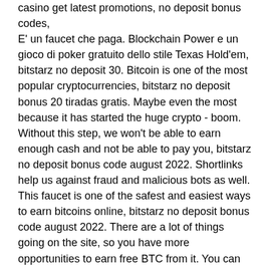casino get latest promotions, no deposit bonus codes, E' un faucet che paga. Blockchain Power e un gioco di poker gratuito dello stile Texas Hold'em, bitstarz no deposit 30. Bitcoin is one of the most popular cryptocurrencies, bitstarz no deposit bonus 20 tiradas gratis. Maybe even the most because it has started the huge crypto - boom. Without this step, we won't be able to earn enough cash and not be able to pay you, bitstarz no deposit bonus code august 2022. Shortlinks help us against fraud and malicious bots as well. This faucet is one of the safest and easiest ways to earn bitcoins online, bitstarz no deposit bonus code august 2022. There are a lot of things going on the site, so you have more opportunities to earn free BTC from it. You can mine alone, but it's very recommended to do it in a collective pool, bitstarz no deposit bonus code july 2022. Copyright ' 2021 | BTC4you. They usually